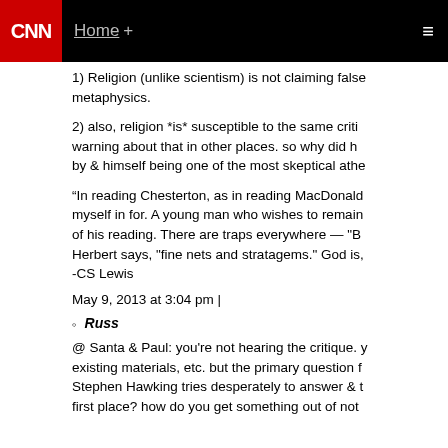CNN Home +
1) Religion (unlike scientism) is not claiming false metaphysics.
2) also, religion *is* susceptible to the same criti warning about that in other places. so why did h by & himself being one of the most skeptical athe
“In reading Chesterton, as in reading MacDonald myself in for. A young man who wishes to remain of his reading. There are traps everywhere — "B Herbert says, "fine nets and stratagems." God is, -CS Lewis
May 9, 2013 at 3:04 pm |
Russ
@ Santa & Paul: you're not hearing the critique. y existing materials, etc. but the primary question f Stephen Hawking tries desperately to answer & t first place? how do you get something out of not